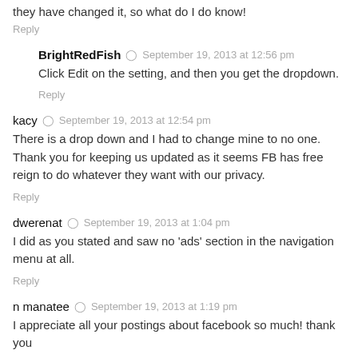they have changed it, so what do I do know!
Reply
BrightRedFish · September 19, 2013 at 12:56 pm
Click Edit on the setting, and then you get the dropdown.
Reply
kacy · September 19, 2013 at 12:54 pm
There is a drop down and I had to change mine to no one. Thank you for keeping us updated as it seems FB has free reign to do whatever they want with our privacy.
Reply
dwerenat · September 19, 2013 at 1:04 pm
I did as you stated and saw no 'ads' section in the navigation menu at all.
Reply
n manatee · September 19, 2013 at 1:19 pm
I appreciate all your postings about facebook so much! thank you
Reply